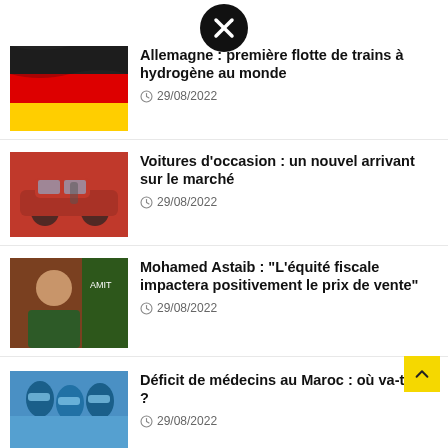[Figure (other): Close/X button circle icon at top center]
Allemagne : première flotte de trains à hydrogène au monde
⊙ 29/08/2022
Voitures d'occasion : un nouvel arrivant sur le marché
⊙ 29/08/2022
Mohamed Astaib : "L'équité fiscale impactera positivement le prix de vente"
⊙ 29/08/2022
Déficit de médecins au Maroc : où va-t-on ?
⊙ 29/08/2022
Grand Agadir : la grille tarifaire du transport urbain, une grande équation